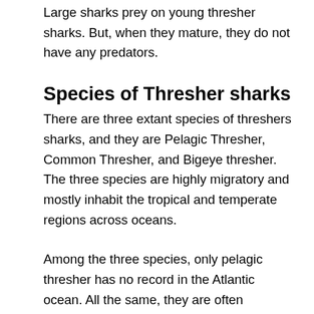Large sharks prey on young thresher sharks. But, when they mature, they do not have any predators.
Species of Thresher sharks
There are three extant species of threshers sharks, and they are Pelagic Thresher, Common Thresher, and Bigeye thresher. The three species are highly migratory and mostly inhabit the tropical and temperate regions across oceans.
Among the three species, only pelagic thresher has no record in the Atlantic ocean. All the same, they are often confused with Common thresher sharks, so there is a high chance their range is more extensive than thought.